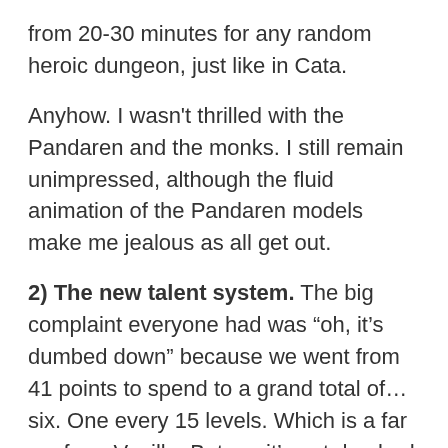from 20-30 minutes for any random heroic dungeon, just like in Cata.
Anyhow. I wasn't thrilled with the Pandaren and the monks. I still remain unimpressed, although the fluid animation of the Pandaren models make me jealous as all get out.
2) The new talent system. The big complaint everyone had was “oh, it’s dumbed down” because we went from 41 points to spend to a grand total of… six. One every 15 levels. Which is a far cry from Vanilla. But no, it’s not dumbed down so much, because you are now expected to change your spec frequently. As well as your glyphs.
I admit that it was challenging for me to remember